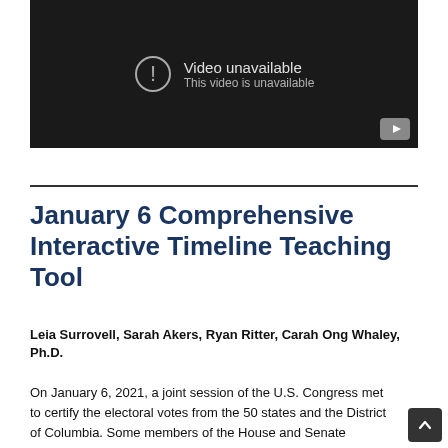[Figure (screenshot): YouTube video player showing 'Video unavailable - This video is unavailable' message on a dark background with a YouTube play button icon in the bottom right corner.]
January 6 Comprehensive Interactive Timeline Teaching Tool
Leia Surrovell, Sarah Akers, Ryan Ritter, Carah Ong Whaley, Ph.D.
On January 6, 2021, a joint session of the U.S. Congress met to certify the electoral votes from the 50 states and the District of Columbia. Some members of the House and Senate challenged the